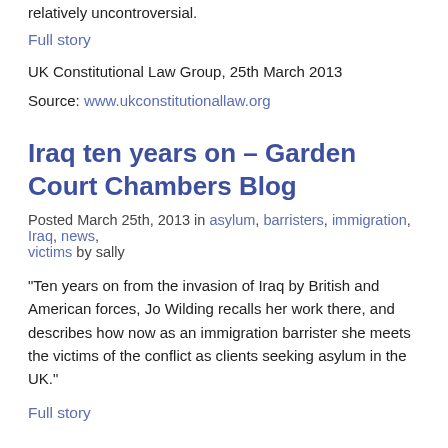relatively uncontroversial.
Full story
UK Constitutional Law Group, 25th March 2013
Source: www.ukconstitutionallaw.org
Iraq ten years on – Garden Court Chambers Blog
Posted March 25th, 2013 in asylum, barristers, immigration, Iraq, news, victims by sally
“Ten years on from the invasion of Iraq by British and American forces, Jo Wilding recalls her work there, and describes how now as an immigration barrister she meets the victims of the conflict as clients seeking asylum in the UK.”
Full story